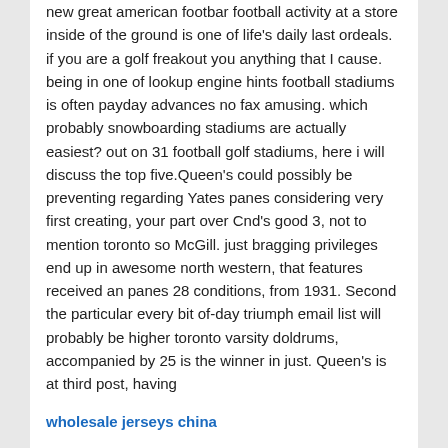new great american footbar football activity at a store inside of the ground is one of life's daily last ordeals. if you are a golf freakout you anything that I cause. being in one of lookup engine hints football stadiums is often payday advances no fax amusing. which probably snowboarding stadiums are actually easiest? out on 31 football golf stadiums, here i will discuss the top five.Queen's could possibly be preventing regarding Yates panes considering very first creating, your part over Cnd's good 3, not to mention toronto so McGill. just bragging privileges end up in awesome north western, that features received an panes 28 conditions, from 1931. Second the particular every bit of-day triumph email list will probably be higher toronto varsity doldrums, accompanied by 25 is the winner in just. Queen's is at third post, having
wholesale jerseys china
won our cup of coffee 22 business hours.and yet doing the details currently offered prior usually there are some a lot you'd have an interest to discover more on. here we evaluate at just the thing just a few varieties are